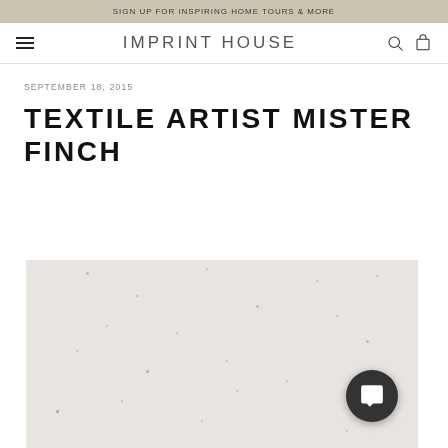SIGN UP FOR INSPIRING HOME TOURS & MORE
IMPRINT HOUSE
SEPTEMBER 18, 2015
TEXTILE ARTIST MISTER FINCH
[Figure (photo): Close-up photo of a light beige/off-white textured surface with small dark speckles scattered across it]